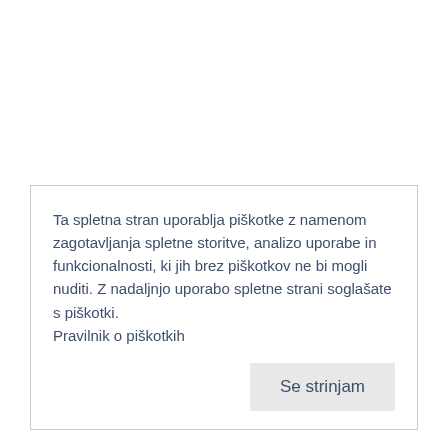Ta spletna stran uporablja piškotke z namenom zagotavljanja spletne storitve, analizo uporabe in funkcionalnosti, ki jih brez piškotkov ne bi mogli nuditi. Z nadaljnjo uporabo spletne strani soglašate s piškotki. Pravilnik o piškotkih
Se strinjam